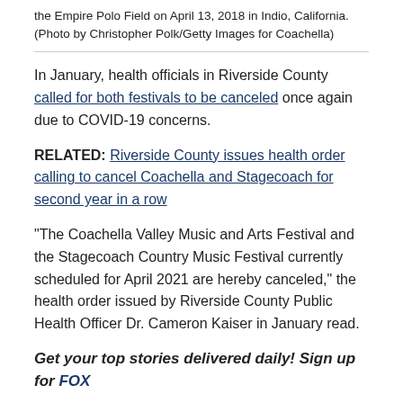the Empire Polo Field on April 13, 2018 in Indio, California. (Photo by Christopher Polk/Getty Images for Coachella)
In January, health officials in Riverside County called for both festivals to be canceled once again due to COVID-19 concerns.
RELATED: Riverside County issues health order calling to cancel Coachella and Stagecoach for second year in a row
"The Coachella Valley Music and Arts Festival and the Stagecoach Country Music Festival currently scheduled for April 2021 are hereby canceled," the health order issued by Riverside County Public Health Officer Dr. Cameron Kaiser in January read.
Get your top stories delivered daily! Sign up for FOX